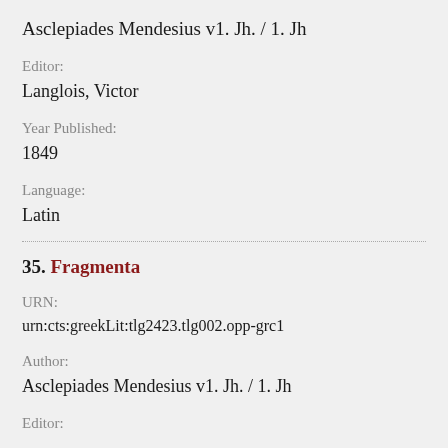Asclepiades Mendesius v1. Jh. / 1. Jh
Editor:
Langlois, Victor
Year Published:
1849
Language:
Latin
35. Fragmenta
URN:
urn:cts:greekLit:tlg2423.tlg002.opp-grc1
Author:
Asclepiades Mendesius v1. Jh. / 1. Jh
Editor: